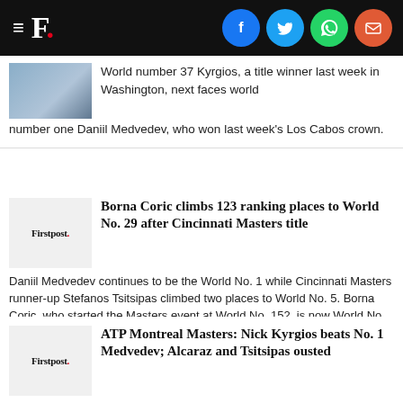Firstpost. [Navigation bar with social icons: Facebook, Twitter, WhatsApp, Email]
World number 37 Kyrgios, a title winner last week in Washington, next faces world number one Daniil Medvedev, who won last week's Los Cabos crown.
Borna Coric climbs 123 ranking places to World No. 29 after Cincinnati Masters title
Daniil Medvedev continues to be the World No. 1 while Cincinnati Masters runner-up Stefanos Tsitsipas climbed two places to World No. 5. Borna Coric, who started the Masters event at World No. 152, is now World No. 29.
ATP Montreal Masters: Nick Kyrgios beats No. 1 Medvedev; Alcaraz and Tsitsipas ousted
Kyrgios, after the match, said that he had a